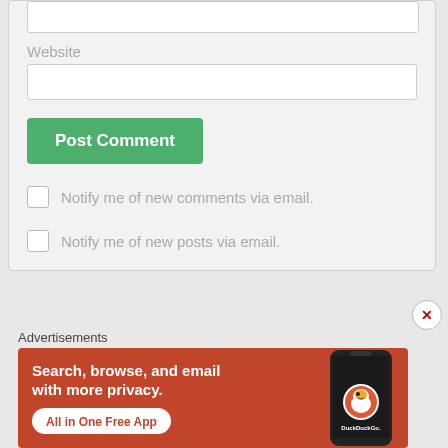Website
Post Comment
Notify me of new comments via email.
Notify me of new posts via email.
Advertisements
[Figure (screenshot): DuckDuckGo advertisement banner: orange background with text 'Search, browse, and email with more privacy. All in One Free App' and a smartphone image showing DuckDuckGo logo]